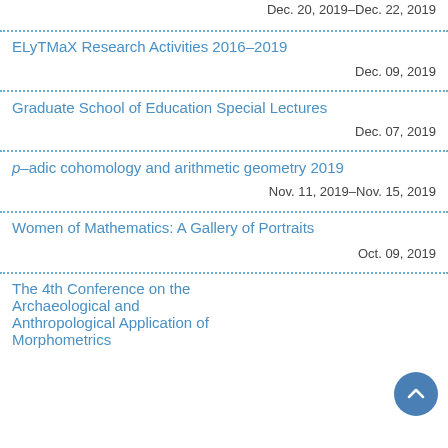Dec. 20, 2019–Dec. 22, 2019
ELyTMaX Research Activities 2016–2019
Dec. 09, 2019
Graduate School of Education Special Lectures
Dec. 07, 2019
p–adic cohomology and arithmetic geometry 2019
Nov. 11, 2019–Nov. 15, 2019
Women of Mathematics: A Gallery of Portraits
Oct. 09, 2019
The 4th Conference on the Archaeological and Anthropological Application of Morphometrics